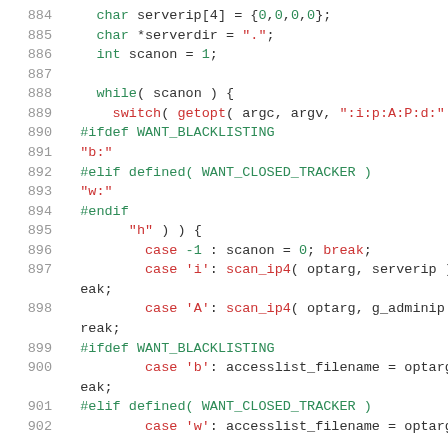Source code lines 884–902 showing C server initialization with getopt argument parsing, including #ifdef WANT_BLACKLISTING and #elif defined(WANT_CLOSED_TRACKER) preprocessor conditionals.